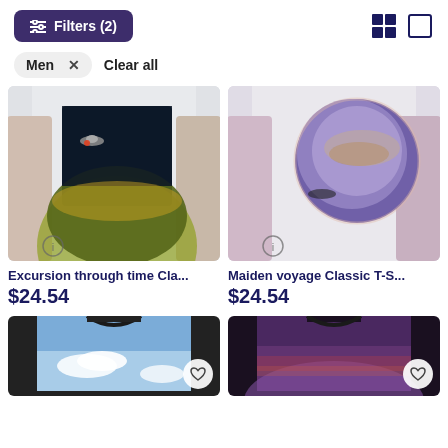Filters (2)
Men  X    Clear all
[Figure (photo): Man wearing a white classic t-shirt with space/planet artwork showing a UFO and planet — Excursion through time Classic T-shirt]
Excursion through time Cla...
$24.54
[Figure (photo): Man wearing a white classic t-shirt with circular planet/space artwork — Maiden voyage Classic T-shirt]
Maiden voyage Classic T-S...
$24.54
[Figure (photo): Black and white t-shirt with blue sky and clouds design, partially visible at bottom]
[Figure (photo): Black and white t-shirt with purple/dark planet/space design, partially visible at bottom]